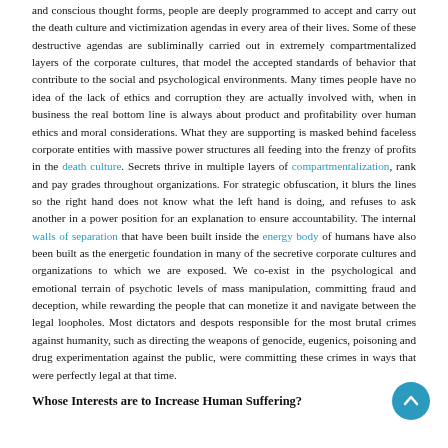and conscious thought forms, people are deeply programmed to accept and carry out the death culture and victimization agendas in every area of their lives. Some of these destructive agendas are subliminally carried out in extremely compartmentalized layers of the corporate cultures, that model the accepted standards of behavior that contribute to the social and psychological environments. Many times people have no idea of the lack of ethics and corruption they are actually involved with, when in business the real bottom line is always about product and profitability over human ethics and moral considerations. What they are supporting is masked behind faceless corporate entities with massive power structures all feeding into the frenzy of profits in the death culture. Secrets thrive in multiple layers of compartmentalization, rank and pay grades throughout organizations. For strategic obfuscation, it blurs the lines so the right hand does not know what the left hand is doing, and refuses to ask another in a power position for an explanation to ensure accountability. The internal walls of separation that have been built inside the energy body of humans have also been built as the energetic foundation in many of the secretive corporate cultures and organizations to which we are exposed. We co-exist in the psychological and emotional terrain of psychotic levels of mass manipulation, committing fraud and deception, while rewarding the people that can monetize it and navigate between the legal loopholes. Most dictators and despots responsible for the most brutal crimes against humanity, such as directing the weapons of genocide, eugenics, poisoning and drug experimentation against the public, were committing these crimes in ways that were perfectly legal at that time.
Whose Interests are to Increase Human Suffering?